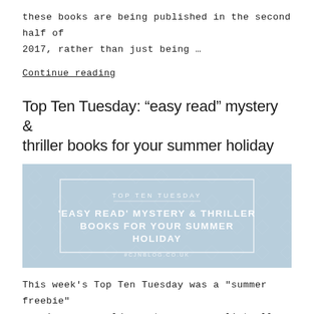these books are being published in the second half of 2017, rather than just being ...
Continue reading
Top Ten Tuesday: “easy read” mystery & thriller books for your summer holiday
[Figure (illustration): Light blue decorative banner with diamond/chevron pattern background and centered white text reading 'TOP TEN TUESDAY' above and ''EASY READ' MYSTERY & THRILLER BOOKS FOR YOUR SUMMER HOLIDAY' in large text, with '#CJNBLOG.CO.UK' at the bottom.]
This week's Top Ten Tuesday was a "summer freebie" meaning you could create your own list all around